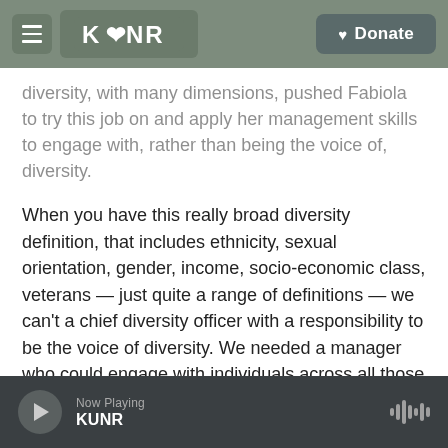KUNR | Donate
diversity, with many dimensions, pushed Fabiola to try this job on and apply her management skills to engage with, rather than being the voice of, diversity.
When you have this really broad diversity definition, that includes ethnicity, sexual orientation, gender, income, socio-economic class, veterans — just quite a range of definitions — we can't a chief diversity officer with a responsibility to be the voice of diversity. We needed a manager who could engage with individuals across all those forms of diversity
Now Playing KUNR